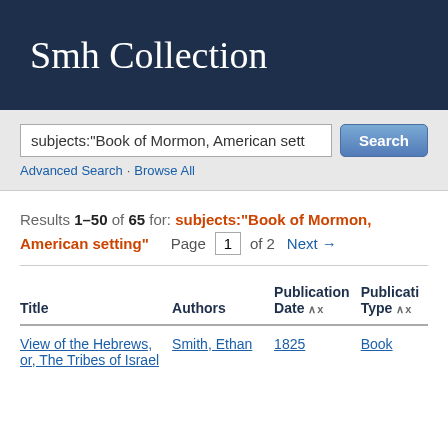Smh Collection
subjects:"Book of Mormon, American sett
Advanced Search · Browse All
Results 1–50 of 65 for: subjects:"Book of Mormon, American setting" Page 1 of 2 Next →
| Title | Authors | Publication Date | Publication Type |
| --- | --- | --- | --- |
| View of the Hebrews, or, The Tribes of Israel | Smith, Ethan | 1825 | Book |